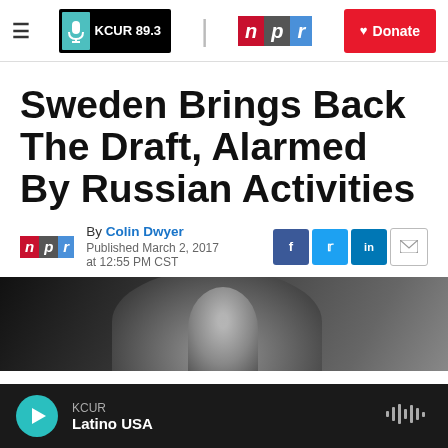KCUR 89.3 | npr | Donate
Sweden Brings Back The Draft, Alarmed By Russian Activities
By Colin Dwyer
Published March 2, 2017 at 12:55 PM CST
[Figure (photo): Photo of people, partially visible, dark toned image cropped at bottom of page]
KCUR Latino USA